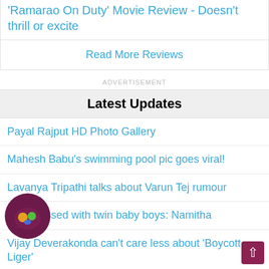'Ramarao On Duty' Movie Review - Doesn't thrill or excite
Read More Reviews
ADVERTISEMENT
Latest Updates
Payal Rajput HD Photo Gallery
Mahesh Babu's swimming pool pic goes viral!
Lavanya Tripathi talks about Varun Tej rumour
I am blessed with twin baby boys: Namitha
Vijay Deverakonda can't care less about 'Boycott Liger'
Exclusive Studio Shoot
'Ponniyin Selvan-I' is going to be a special movie: Team
Vijay Deverakonda reacts on #NTRForOscars